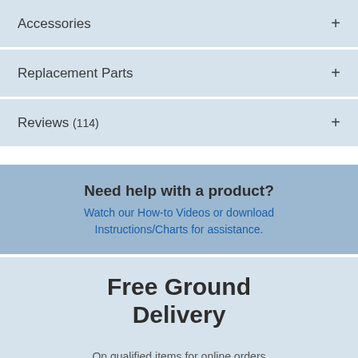Accessories +
Replacement Parts +
Reviews (114) +
Need help with a product? Watch our How-to Videos or download Instructions/Charts for assistance.
Free Ground Delivery
On qualified items for online orders over $100. Learn more »
[Figure (illustration): Partial illustration of a delivery truck, showing the cab/front portion in black and white outline style.]